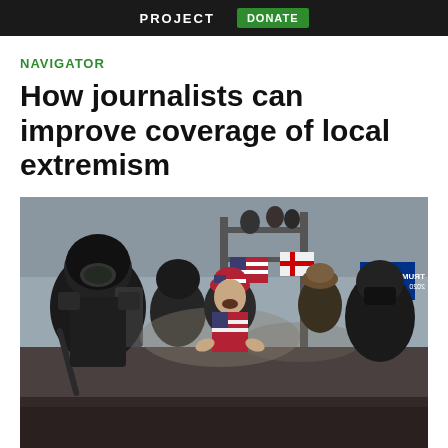PROJECT   DONATE
NAVIGATOR
How journalists can improve coverage of local extremism
[Figure (photo): Crowd scene showing riot police in black gear with helmets on the left, and protesters/rioters with American flags, Trump 2020 flags, and a Christian flag in the background. A man in an American flag-patterned vest and cap is gesturing in the center foreground. Smoke or haze is visible in the scene.]